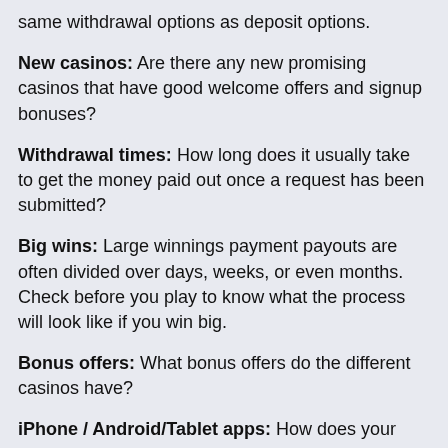same withdrawal options as deposit options.
New casinos: Are there any new promising casinos that have good welcome offers and signup bonuses?
Withdrawal times: How long does it usually take to get the money paid out once a request has been submitted?
Big wins: Large winnings payment payouts are often divided over days, weeks, or even months. Check before you play to know what the process will look like if you win big.
Bonus offers: What bonus offers do the different casinos have?
iPhone / Android/Tablet apps: How does your selected casino look on your mobile device?
Bonus terms: What terms are limiting the possibility